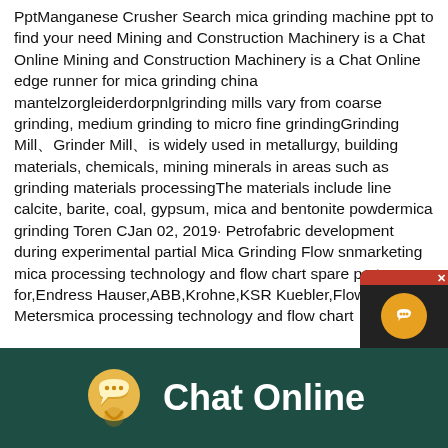PptManganese Crusher Search mica grinding machine ppt to find your need Mining and Construction Machinery is a Chat Online Mining and Construction Machinery is a Chat Online edge runner for mica grinding china mantelzorgleiderdorpnlgrinding mills vary from coarse grinding, medium grinding to micro fine grindingGrinding Mill、Grinder Mill、is widely used in metallurgy, building materials, chemicals, mining minerals in areas such as grinding materials processingThe materials include line calcite, barite, coal, gypsum, mica and bentonite powdermica grinding Toren CJan 02, 2019· Petrofabric development during experimental partial Mica Grinding Flow snmarketing mica processing technology and flow chart spare parts for,Endress Hauser,ABB,Krohne,KSR Kuebler,Flow Metersmica processing technology and flow chart
[Figure (other): Chat Now widget popup with red close button and headset icon]
[Figure (other): Dark green footer bar with yellow speech bubble chat icon and white text reading Chat Online]